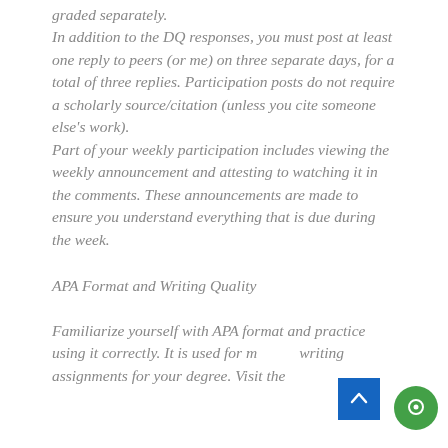graded separately. In addition to the DQ responses, you must post at least one reply to peers (or me) on three separate days, for a total of three replies. Participation posts do not require a scholarly source/citation (unless you cite someone else's work). Part of your weekly participation includes viewing the weekly announcement and attesting to watching it in the comments. These announcements are made to ensure you understand everything that is due during the week.
APA Format and Writing Quality
Familiarize yourself with APA format and practice using it correctly. It is used for most writing assignments for your degree. Visit the